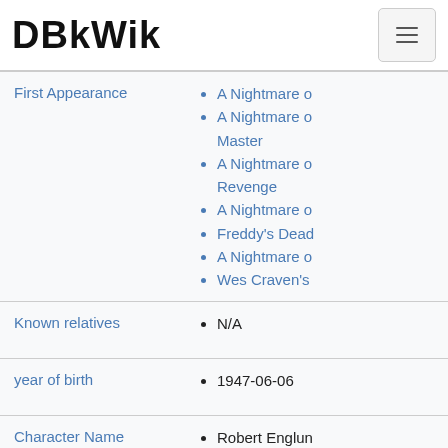DBkWik
| Property | Value |
| --- | --- |
| First Appearance | A Nightmare o
A Nightmare o Master
A Nightmare o Revenge
A Nightmare o
Freddy's Dead
A Nightmare o
Wes Craven's |
| Known relatives | N/A |
| year of birth | 1947-06-06 |
| Character Name | Robert Englun |
| Location | dbkwik:resourc |